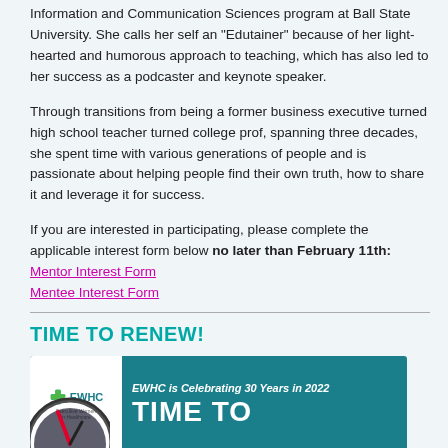Information and Communication Sciences program at Ball State University. She calls her self an “Edutainer” because of her light-hearted and humorous approach to teaching, which has also led to her success as a podcaster and keynote speaker.
Through transitions from being a former business executive turned high school teacher turned college prof, spanning three decades, she spent time with various generations of people and is passionate about helping people find their own truth, how to share it and leverage it for success.
If you are interested in participating, please complete the applicable interest form below no later than February 11th: Mentor Interest Form Mentee Interest Form
TIME TO RENEW!
[Figure (infographic): EWHC banner image with teal background. Left side shows EWHC logo on white background. Right side shows text 'EWHC is Celebrating 30 Years in 2022' and large white text 'TIME TO'. A clock/timer graphic is partially visible on the left.]